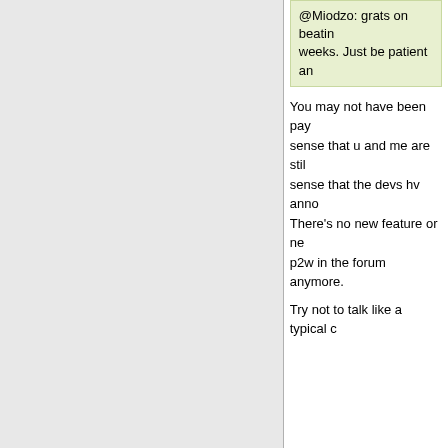@Miodzo: grats on beating weeks. Just be patient an
You may not have been pay sense that u and me are stil sense that the devs hv anno There's no new feature or ne p2w in the forum anymore.
Try not to talk like a typical c
Oct 21, 2021 8:15am
deathdeathdie
240 posts
Originally posted by Little
Originally posted by Bu
Originally posted by D
Originally posted by I am come back in box or new soon? a quadra or old buffe